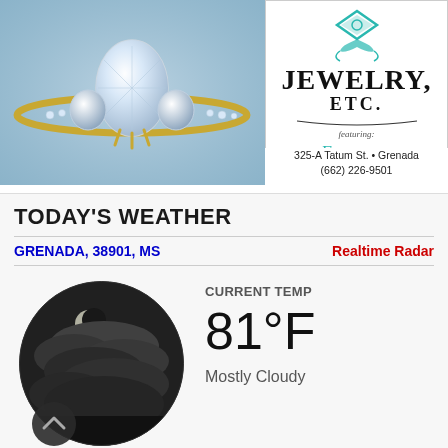[Figure (photo): Advertisement for Jewelry, Etc. featuring Rather Fancy by Jane. Left side shows a close-up photo of a diamond ring with gold band on blue fabric background. Right side shows the store logo with teal/turquoise diamond icon and ornate lettering.]
325-A Tatum St. • Grenada
(662) 226-9501
TODAY'S WEATHER
GRENADA, 38901, MS
Realtime Radar
[Figure (photo): Circular weather icon showing a nighttime mostly cloudy scene with moon visible through dark clouds, grayscale image. Below the circle is a small upward chevron arrow icon.]
CURRENT TEMP
81°F
Mostly Cloudy